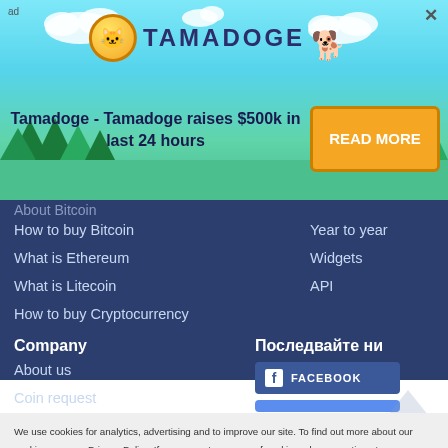[Figure (illustration): Tamadoge advertisement banner with pixel-art dog, coin logo, trees, clouds on teal/sky background]
Tamadoge - Tamadoge raises $500k in last 24 hours
READ MORE
How to buy Bitcoin
What is Ethereum
What is Litecoin
How to buy Cryptocurrency
Year to year
Widgets
API
Company
About us
Coin request
Последвайте ни
FACEBOOK
We use cookies for analytics, advertising and to improve our site. To find out more about our cookies, see our Privacy Policy. If you agree to our use of cookies, please continue to use our site or press the accept button. Learn more
Accept